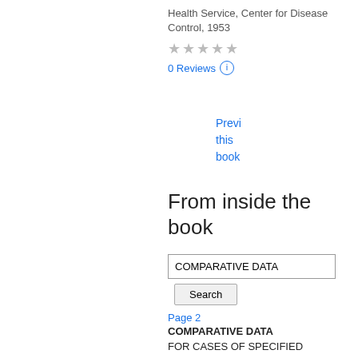Health Service, Center for Disease Control, 1953
★★★★★ 0 Reviews
Preview this book
From inside the book
COMPARATIVE DATA
Search
Page 2
COMPARATIVE DATA FOR CASES OF SPECIFIED NOTIFIABLE DBEASES : UNITED STATES ( Numbers after diseases